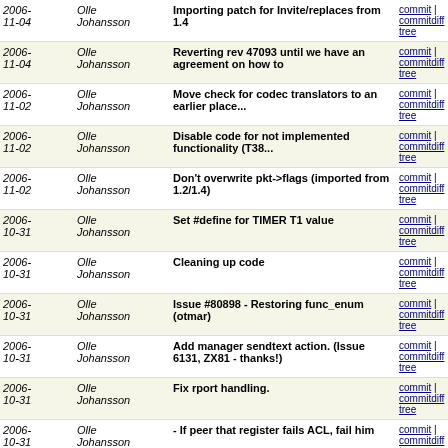| Date | Author | Message | Links |
| --- | --- | --- | --- |
| 2006-11-04 | Olle Johansson | Importing patch for Invite/replaces from 1.4 | commit | commitdiff | tree |
| 2006-11-04 | Olle Johansson | Reverting rev 47093 until we have an agreement on how to | commit | commitdiff | tree |
| 2006-11-02 | Olle Johansson | Move check for codec translators to an earlier place... | commit | commitdiff | tree |
| 2006-11-02 | Olle Johansson | Disable code for not implemented functionality (T38... | commit | commitdiff | tree |
| 2006-11-02 | Olle Johansson | Don't overwrite pkt->flags (imported from 1.2/1.4) | commit | commitdiff | tree |
| 2006-10-31 | Olle Johansson | Set #define for TIMER T1 value | commit | commitdiff | tree |
| 2006-10-31 | Olle Johansson | Cleaning up code | commit | commitdiff | tree |
| 2006-10-31 | Olle Johansson | Issue #80898 - Restoring func_enum (otmar) | commit | commitdiff | tree |
| 2006-10-31 | Olle Johansson | Add manager sendtext action. (Issue 6131, ZX81 - thanks!) | commit | commitdiff | tree |
| 2006-10-31 | Olle Johansson | Fix rport handling. | commit | commitdiff | tree |
| 2006-10-31 | Olle Johansson | - If peer that register fails ACL, fail him | commit | commitdiff | tree |
| 2006-10-31 | Olle Johansson | Block patch that only applies to 1.4 | commit | commitdiff | tree |
| 2006-10-31 | Olle Johansson | Take two, using find_resource on Kevin's suggestion. | commit | commitdiff | tree |
| 2006- | Olle | show_list_view_display | commit |